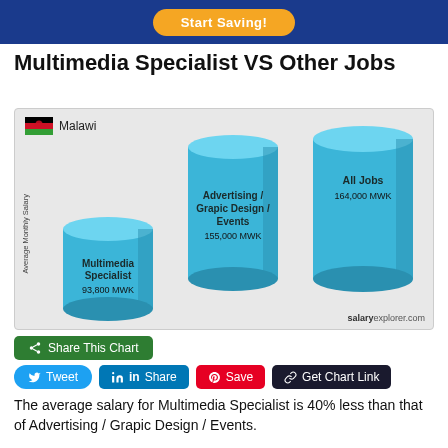Start Saving!
Multimedia Specialist VS Other Jobs
[Figure (bar-chart): Multimedia Specialist VS Other Jobs]
Share This Chart
Tweet  Share  Save  Get Chart Link
The average salary for Multimedia Specialist is 40% less than that of Advertising / Grapic Design / Events.